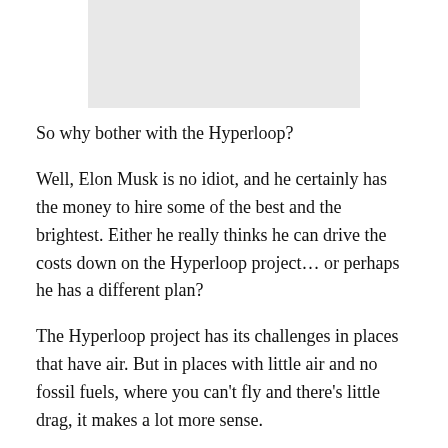[Figure (photo): A light gray rectangular image placeholder at the top of the page]
So why bother with the Hyperloop?
Well, Elon Musk is no idiot, and he certainly has the money to hire some of the best and the brightest. Either he really thinks he can drive the costs down on the Hyperloop project… or perhaps he has a different plan?
The Hyperloop project has its challenges in places that have air. But in places with little air and no fossil fuels, where you can't fly and there's little drag, it makes a lot more sense.
Places like Mars.
Elon Musk has a habit (SpaceX/SolarCity/Tesla Motors) of trying to use his money to start private ventures that he, and many others, believe are also important to humanity. Musk has spoken about his own commercial venture to put people